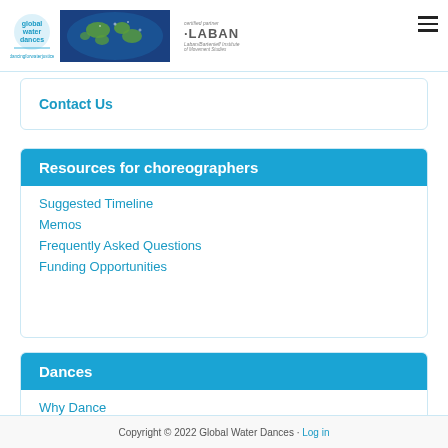Global Water Dances | LABAN
Contact Us
Resources for choreographers
Suggested Timeline
Memos
Frequently Asked Questions
Funding Opportunities
Dances
Why Dance
Dance Resources
For Choreographers
Copyright © 2022 Global Water Dances · Log in